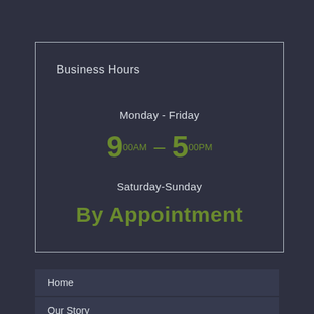Business Hours
Monday - Friday
9 00AM – 5 00PM
Saturday-Sunday
By Appointment
Home
Our Story